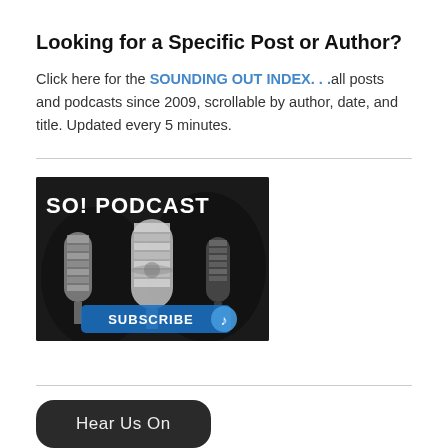Looking for a Specific Post or Author?
Click here for the SOUNDING OUT INDEX. . .all posts and podcasts since 2009, scrollable by author, date, and title. Updated every 5 minutes.
[Figure (photo): SO! Podcast promotional image showing vintage microphones with 'Subscribe' button overlay on dark background]
[Figure (other): Dark rounded rectangle button with text 'Hear Us On']